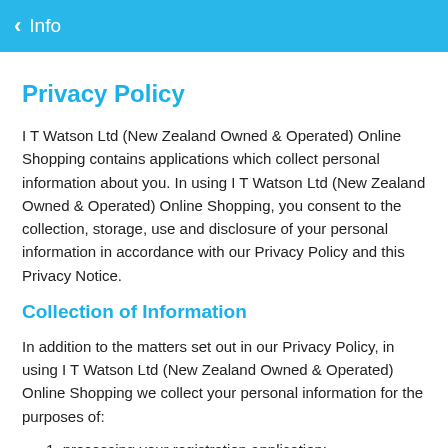Info
Privacy Policy
I T Watson Ltd (New Zealand Owned & Operated) Online Shopping contains applications which collect personal information about you. In using I T Watson Ltd (New Zealand Owned & Operated) Online Shopping, you consent to the collection, storage, use and disclosure of your personal information in accordance with our Privacy Policy and this Privacy Notice.
Collection of Information
In addition to the matters set out in our Privacy Policy, in using I T Watson Ltd (New Zealand Owned & Operated) Online Shopping we collect your personal information for the purposes of:
processing your registration application;